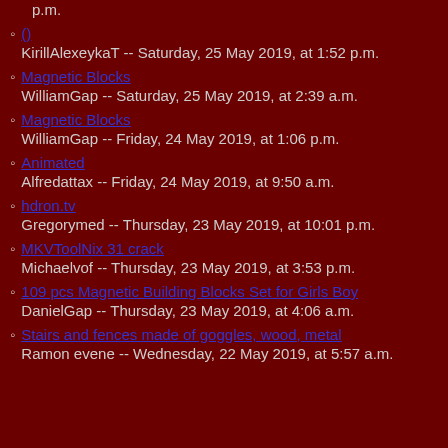p.m.
()
KirillAlexeykaT -- Saturday, 25 May 2019, at 1:52 p.m.
Magnetic Blocks
WilliamGap -- Saturday, 25 May 2019, at 2:39 a.m.
Magnetic Blocks
WilliamGap -- Friday, 24 May 2019, at 1:06 p.m.
Animated
Alfredattax -- Friday, 24 May 2019, at 9:50 a.m.
hdron.tv
Gregorymed -- Thursday, 23 May 2019, at 10:01 p.m.
MKVToolNix 31 crack
Michaelvof -- Thursday, 23 May 2019, at 3:53 p.m.
109 pcs Magnetic Building Blocks Set for Girls Boy
DanielGap -- Thursday, 23 May 2019, at 4:06 a.m.
Stairs and fences made of goggles, wood, metal
Ramon evene -- Wednesday, 22 May 2019, at 5:57 a.m.